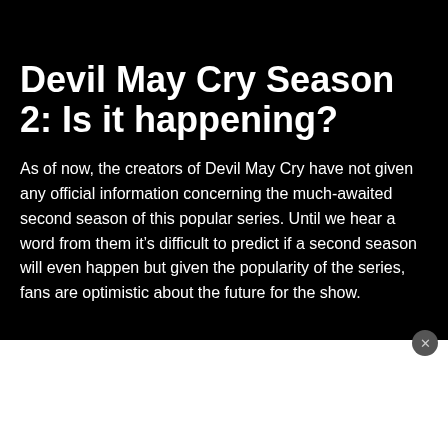Devil May Cry Season 2: Is it happening?
As of now, the creators of Devil May Cry have not given any official information concerning the much-awaited second season of this popular series. Until we hear a word from them it’s difficult to predict if a second season will even happen but given the popularity of the series, fans are optimistic about the future for the show.